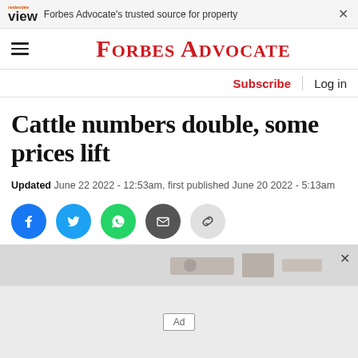Forbes Advocate's trusted source for property
FORBES ADVOCATE
Subscribe | Log in
Cattle numbers double, some prices lift
Updated June 22 2022 - 12:53am, first published June 20 2022 - 5:13am
[Figure (infographic): Social share buttons: Facebook, Twitter, WhatsApp, Email, Link]
[Figure (infographic): Advertisement banner at bottom of page with close button and Ad label]